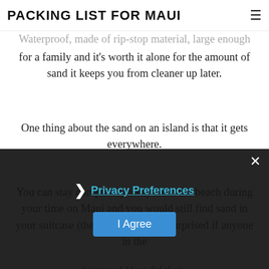PACKING LIST FOR MAUI
Waterproof, made of rip-stop material, large enough for a family and it's worth it alone for the amount of sand it keeps you from cleaner up later.
One thing about the sand on an island is that it gets everywhere.
You can stay completely away from the beach during your time on Maui and you would still find sand in your suitcase (theoretically. I'd be surprised if anyone in the history of Maui did that).
Having a beach mat to separate you from the sand will save you lots of cleaning and sweeping at the
Privacy Preferences
I Agree